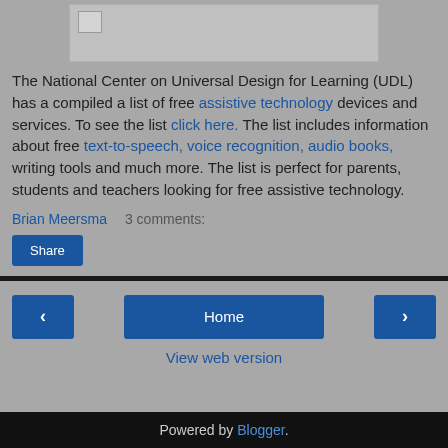[Figure (other): Small image placeholder/thumbnail at top of blog post]
The National Center on Universal Design for Learning (UDL) has a compiled a list of free assistive technology devices and services. To see the list click here. The list includes information about free text-to-speech, voice recognition, audio books, writing tools and much more. The list is perfect for parents, students and teachers looking for free assistive technology.
Brian Meersma    3 comments:
Share
Home
View web version
Powered by Blogger.